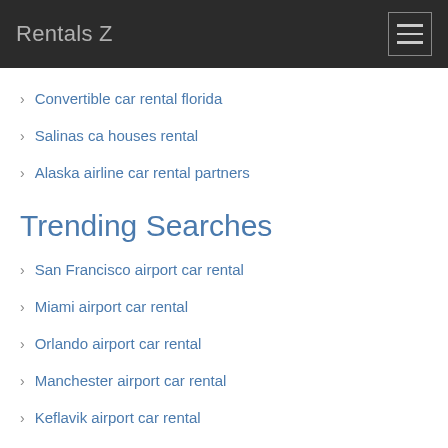Rentals Z
Convertible car rental florida
Salinas ca houses rental
Alaska airline car rental partners
Trending Searches
San Francisco airport car rental
Miami airport car rental
Orlando airport car rental
Manchester airport car rental
Keflavik airport car rental
Brisbane airport car rental
Zurich airport car rental
Sydney airport car rental
Seattle airport car rental